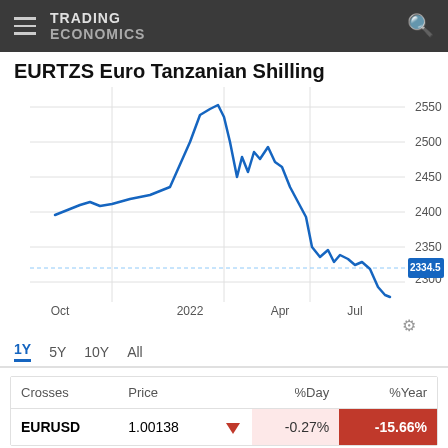TRADING ECONOMICS
EURTZS Euro Tanzanian Shilling
[Figure (line-chart): Line chart showing EURTZS exchange rate over 1 year from Oct 2021 to Aug 2022. Rate rises to ~2550 around Apr 2022, then declines to ~2334.5 by Aug 2022. Current value highlighted at 2334.5.]
| Crosses | Price |  | %Day | %Year |
| --- | --- | --- | --- | --- |
| EURUSD | 1.00138 | ▼ | -0.27% | -15.66% |